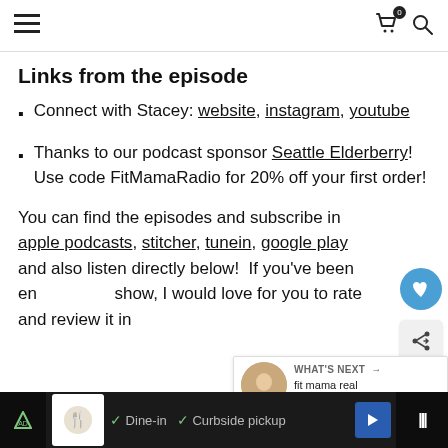[Navigation bar with hamburger menu, cart (0), and search icon]
Links from the episode
Connect with Stacey: website, instagram, youtube
Thanks to our podcast sponsor Seattle Elderberry!  Use code FitMamaRadio for 20% off your first order!
You can find the episodes and subscribe in apple podcasts, stitcher, tunein, google play and also listen directly below!  If you've been enjoying the show, I would love for you to rate and review it in
[Ad bar: Dine-in, Curbside pickup]